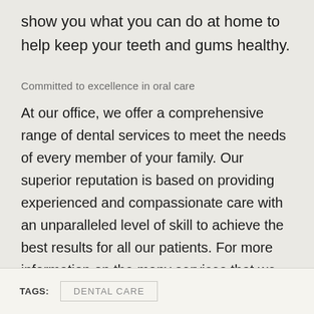show you what you can do at home to help keep your teeth and gums healthy.
Committed to excellence in oral care
At our office, we offer a comprehensive range of dental services to meet the needs of every member of your family. Our superior reputation is based on providing experienced and compassionate care with an unparalleled level of skill to achieve the best results for all our patients. For more information on the many services that we provide, give us a call today.
TAGS: DENTAL CARE